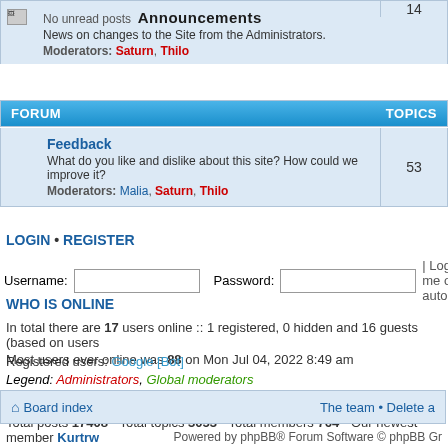No unread posts — Announcements. News on changes to the Site from the Administrators. Moderators: Saturn, Thilo. Topics: 14
FORUM / TOPICS
Feedback — What do you like and dislike about this site? How could we improve it? Moderators: Malia, Saturn, Thilo. Topics: 53
LOGIN • REGISTER
Username: [input] Password: [input] | Log me on autom
WHO IS ONLINE
In total there are 17 users online :: 1 registered, 0 hidden and 16 guests (based on users Most users ever online was 88 on Mon Jul 04, 2022 8:49 am
Registered users: Google [Bot]
Legend: Administrators, Global moderators
STATISTICS
Total posts 17408 • Total topics 3053 • Total members 764 • Our newest member Kurtrw
Board index — The team • Delete a
Powered by phpBB® Forum Software © phpBB Gr